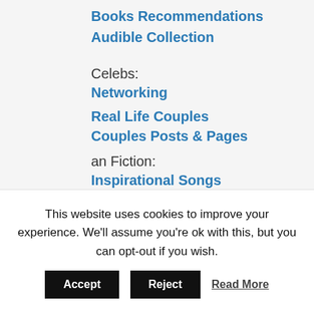Books Recommendations
Audible Collection
Celebs:
Networking
Real Life Couples
Couples Posts & Pages
an Fiction:
Inspirational Songs
When Plot Gets Changed
Recommendations:
Movies Recommendations
[Figure (infographic): Social share buttons: Facebook (dark blue circle with f), Twitter (light blue circle with bird icon), Pinterest (red circle with P icon and count 1). Shares counter showing 1 SHARES.]
This website uses cookies to improve your experience. We'll assume you're ok with this, but you can opt-out if you wish.
Accept   Reject   Read More